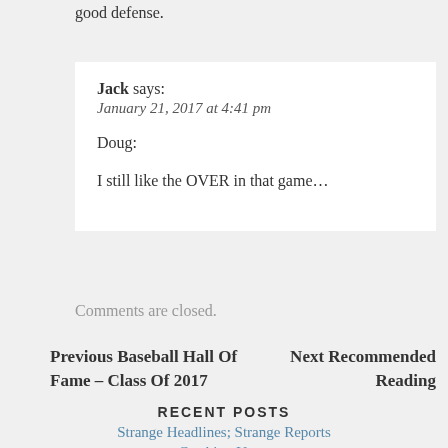good defense.
Jack says:
January 21, 2017 at 4:41 pm

Doug:

I still like the OVER in that game…
Comments are closed.
Previous Baseball Hall Of Fame – Class Of 2017
Next Recommended Reading
RECENT POSTS
Strange Headlines; Strange Reports
Catching Up…